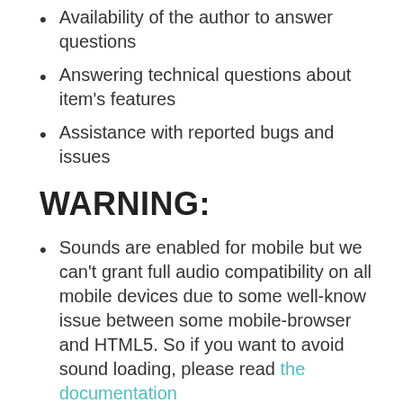Availability of the author to answer questions
Answering technical questions about item's features
Assistance with reported bugs and issues
WARNING:
Sounds are enabled for mobile but we can't grant full audio compatibility on all mobile devices due to some well-know issue between some mobile-browser and HTML5. So if you want to avoid sound loading, please read the documentation
Sounds can't be enabled for Windows Phone as this kind of device have